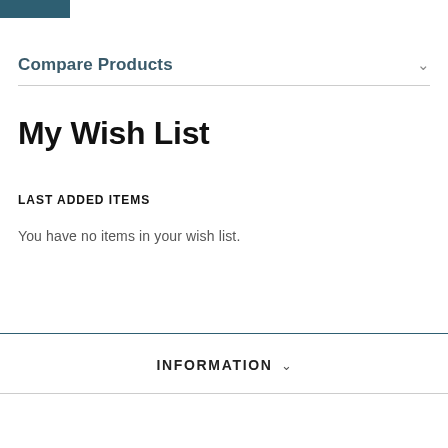Compare Products
My Wish List
LAST ADDED ITEMS
You have no items in your wish list.
INFORMATION